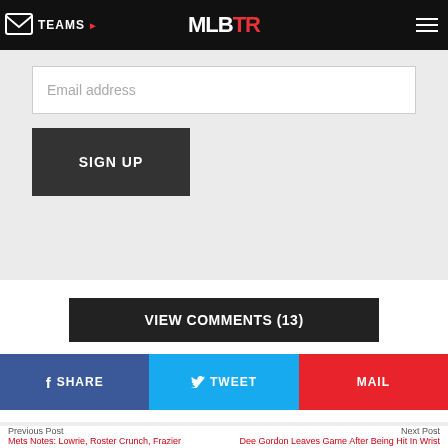TEAMS | MLBTR
Email address
SIGN UP
VIEW COMMENTS (13)
f SHARE | TWEET | MAIL
Previous Post
Mets Notes: Lowrie, Roster Crunch, Frazier
Next Post
Dee Gordon Leaves Game After Being Hit In Wrist
ADVERTISEMENT